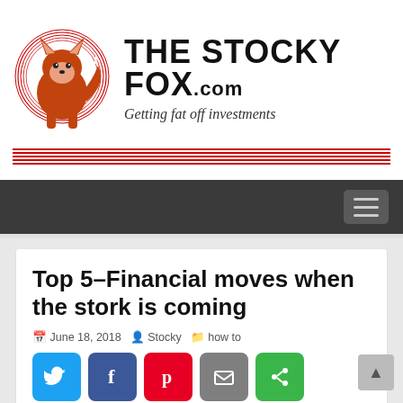[Figure (logo): The Stocky Fox website header with fox logo in red circle, site name THE STOCKY FOX.com, tagline Getting fat off investments, and red horizontal lines]
Top 5–Financial moves when the stork is coming
June 18, 2018  Stocky  how to
[Figure (infographic): Social share buttons: Twitter (blue), Facebook (dark blue), Pinterest (red), Email (grey), More (green)]
2 people like this. Sign Up to see what your friends like.